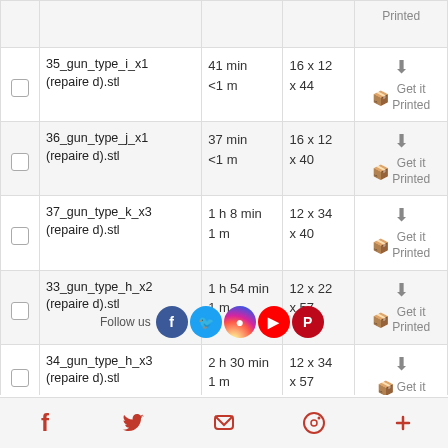|  | Filename | Time | Dimensions | Actions |
| --- | --- | --- | --- | --- |
|  |  |  |  | Printed |
| ☐ | 35_gun_type_i_x1 (repaire d).stl | 41 min
<1 m | 16 x 12 x 44 | ↓
Get it Printed |
| ☐ | 36_gun_type_j_x1 (repaire d).stl | 37 min
<1 m | 16 x 12 x 40 | ↓
Get it Printed |
| ☐ | 37_gun_type_k_x3 (repaire d).stl | 1 h 8 min
1 m | 12 x 34 x 40 | ↓
Get it Printed |
| ☐ | 33_gun_type_h_x2 (repaire d).stl | 1 h 54 min
1 m | 12 x 22 x 57 | ↓
Get it Printed |
| ☐ | 34_gun_type_h_x3 (repaire d).stl | 2 h 30 min
1 m | 12 x 34 x 57 | ↓
Get it Printed |
Facebook | Twitter | Email | Pinterest | More